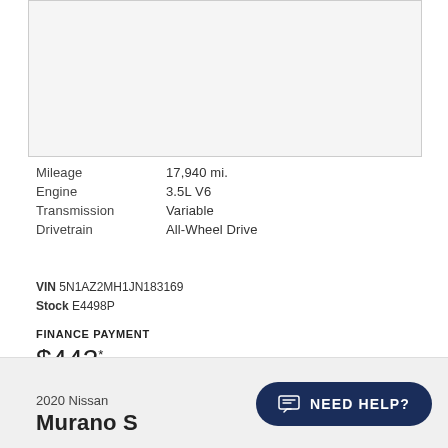[Figure (photo): Car image placeholder (white/light grey box)]
| Mileage | 17,940 mi. |
| Engine | 3.5L V6 |
| Transmission | Variable |
| Drivetrain | All-Wheel Drive |
VIN 5N1AZ2MH1JN183169
Stock E4498P
FINANCE PAYMENT
$442* /month
2020 Nissan
Murano S
NEED HELP?